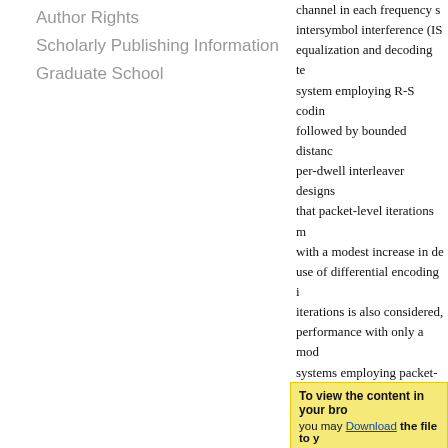Author Rights
Scholarly Publishing Information
Graduate School
channel in each frequency s... intersymbol interference (IS... equalization and decoding te... system employing R-S codin... followed by bounded distanc... per-dwell interleaver designs... that packet-level iterations m... with a modest increase in de... use of differential encoding i... iterations is also considered,... performance with only a mod... systems employing packet-le... are evaluated for channels w... between the performance of... using some other codes and
Recommended Citation
Ramchandran, Harish, "Low-comp... spread-spectrum communication... https://tigerprints.clemson.edu/a...
To view the content in your br... you may Download the file to y...